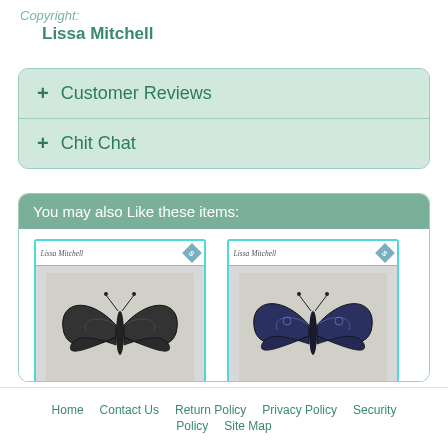Copyright: Lissa Mitchell
+ Customer Reviews
+ Chit Chat
You may also Like these items:
[Figure (illustration): Product thumbnail: Butterfly (Alvarie's Wi...) with cyan border and Lissa Mitchell watermark]
Butterfly (Alvarie's Wi...
[Figure (illustration): Product thumbnail: Butterfly (Nissa's Win...) with cyan border and Lissa Mitchell watermark]
Butterfly (Nissa's Win...
Home   Contact Us   Return Policy   Privacy Policy   Security   Policy   Site Map